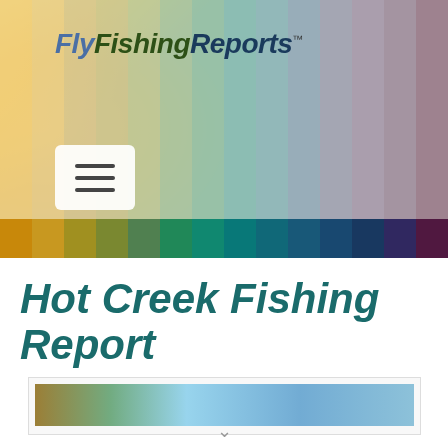[Figure (screenshot): FlyFishingReports website header banner with colorful vertical gradient strips (warm yellows, greens, teals, blues, purples) and a hamburger menu button on the left side]
Hot Creek Fishing Report
[Figure (photo): Partial view of a fishing location photo showing water and sky, cropped at bottom of page]